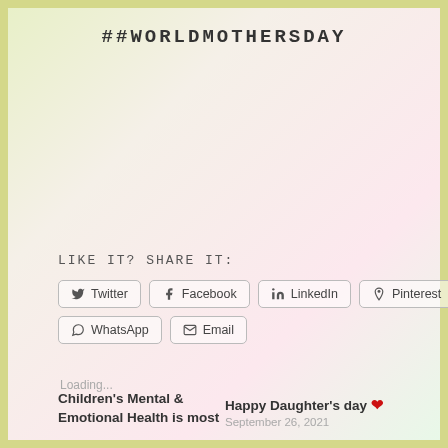##WORLDMOTHERSDAY
LIKE IT? SHARE IT:
Twitter | Facebook | LinkedIn | Pinterest | WhatsApp | Email
Loading...
Children's Mental & Emotional Health is most
Happy Daughter's day ❤ September 26, 2021